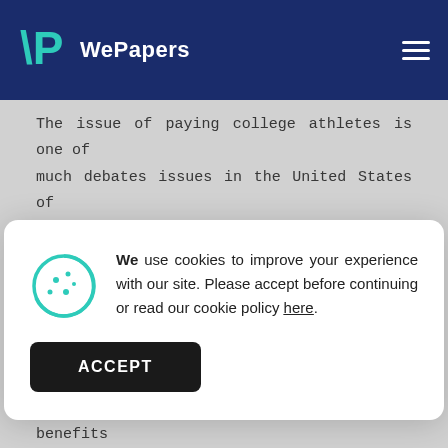WePapers
The issue of paying college athletes is one of much debates issues in the United States of America. There is a difference of opinion on
We use cookies to improve your experience with our site. Please accept before continuing or read our cookie policy here.
ACCEPT
looks into reasons why college athletes should not be paid.
People, who oppose paying college students, say that college athletes get various benefits